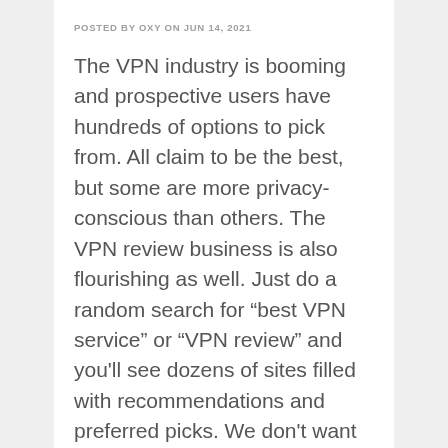POSTED BY OXY ON JUN 14, 2021
The VPN industry is booming and prospective users have hundreds of options to pick from. All claim to be the best, but some are more privacy-conscious than others. The VPN review business is also flourishing as well. Just do a random search for “best VPN service” or “VPN review” and you'll see dozens of sites filled with recommendations and preferred picks. We don't want to make any recommendations. When it comes to privacy and...